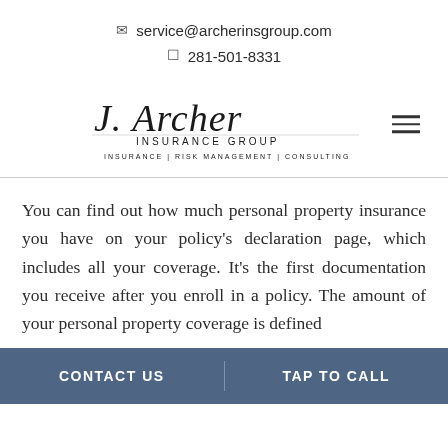✉ service@archerinsgroup.com  📱 281-501-8331
[Figure (logo): J. Archer Insurance Group logo with cursive script and tagline: INSURANCE | RISK MANAGEMENT | CONSULTING]
You can find out how much personal property insurance you have on your policy's declaration page, which includes all your coverage. It's the first documentation you receive after you enroll in a policy. The amount of your personal property coverage is defined
CONTACT US   |   TAP TO CALL